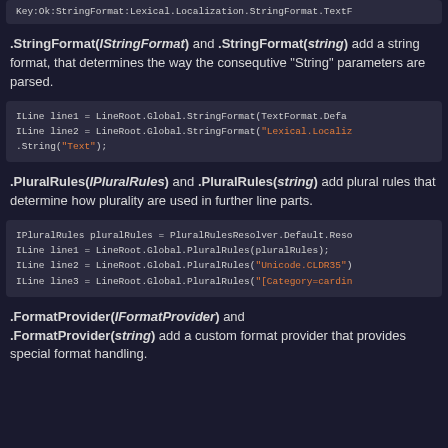[Figure (screenshot): Code snippet showing Key:Ok:StringFormat:Lexical.Localization.StringFormat.TextF... (truncated)]
.StringFormat(IStringFormat) and .StringFormat(string) add a string format, that determines the way the consequtive "String" parameters are parsed.
[Figure (screenshot): Code snippet: ILine line1 = LineRoot.Global.StringFormat(TextFormat.Defa..., ILine line2 = LineRoot.Global.StringFormat("Lexical.Localiz... .String("Text");]
.PluralRules(IPluralRules) and .PluralRules(string) add plural rules that determine how plurality are used in further line parts.
[Figure (screenshot): Code snippet: IPluralRules pluralRules = PluralRulesResolver.Default.Reso..., ILine line1 = LineRoot.Global.PluralRules(pluralRules);, ILine line2 = LineRoot.Global.PluralRules("Unicode.CLDR35")..., ILine line3 = LineRoot.Global.PluralRules("[Category=cardin...]
.FormatProvider(IFormatProvider) and .FormatProvider(string) add a custom format provider that provides special format handling.